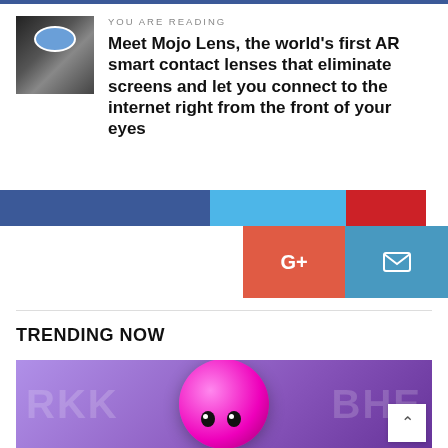YOU ARE READING
Meet Mojo Lens, the world’s first AR smart contact lenses that eliminate screens and let you connect to the internet right from the front of your eyes
[Figure (infographic): Social share buttons: Facebook (dark blue), Twitter (light blue), Pinterest (red), Google+ (orange-red), Email (blue)]
TRENDING NOW
[Figure (photo): Kirby character (pink round character) on purple background with pixel-art style background text showing RKK and BHR]